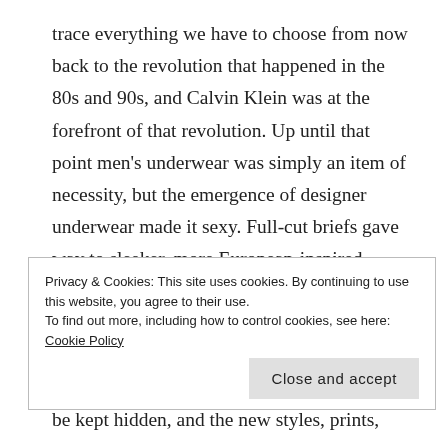trace everything we have to choose from now back to the revolution that happened in the 80s and 90s, and Calvin Klein was at the forefront of that revolution. Up until that point men's underwear was simply an item of necessity, but the emergence of designer underwear made it sexy. Full-cut briefs gave way to sleeker, more European-inspired styles with high cut legs and less coverage. Boxer briefs became wardrobe staples. Colors and prints became huge selling points. Men's underwear was no longer something to be kept hidden, and the new styles, prints,
and colors were almost daring men to show them off.
Privacy & Cookies: This site uses cookies. By continuing to use this website, you agree to their use.
To find out more, including how to control cookies, see here: Cookie Policy
Close and accept